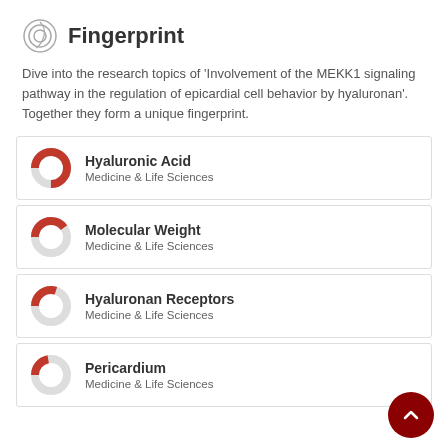Fingerprint
Dive into the research topics of 'Involvement of the MEKK1 signaling pathway in the regulation of epicardial cell behavior by hyaluronan'. Together they form a unique fingerprint.
Hyaluronic Acid
Medicine & Life Sciences
Molecular Weight
Medicine & Life Sciences
Hyaluronan Receptors
Medicine & Life Sciences
Pericardium
Medicine & Life Sciences